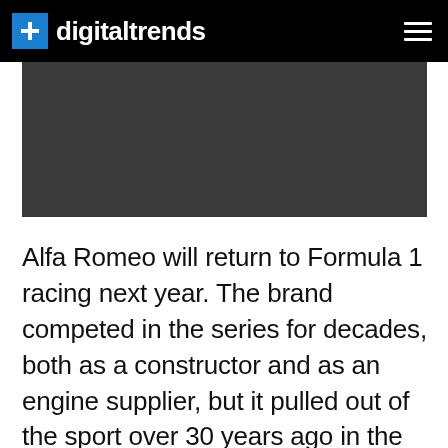digitaltrends
[Figure (photo): Dark gray/charcoal rectangular hero image placeholder area]
Alfa Romeo will return to Formula 1 racing next year. The brand competed in the series for decades, both as a constructor and as an engine supplier, but it pulled out of the sport over 30 years ago in the midst of financial problems. The future finally looks brighter, and the Italian company is